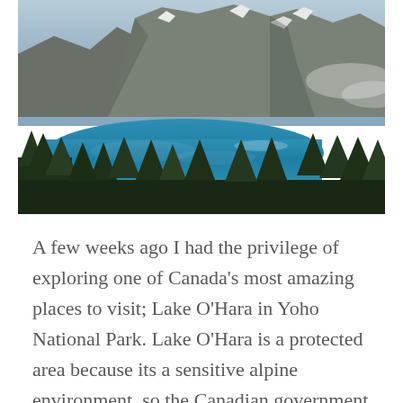[Figure (photo): Aerial landscape photo of Lake O'Hara in Yoho National Park, showing a vivid turquoise alpine lake surrounded by dark green coniferous trees and dramatic rocky mountain peaks with patches of snow and mist.]
A few weeks ago I had the privilege of exploring one of Canada's most amazing places to visit; Lake O'Hara in Yoho National Park. Lake O'Hara is a protected area because its a sensitive alpine environment, so the Canadian government